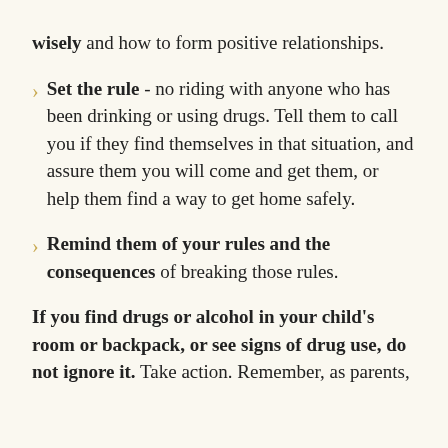wisely and how to form positive relationships.
Set the rule - no riding with anyone who has been drinking or using drugs. Tell them to call you if they find themselves in that situation, and assure them you will come and get them, or help them find a way to get home safely.
Remind them of your rules and the consequences of breaking those rules.
If you find drugs or alcohol in your child's room or backpack, or see signs of drug use, do not ignore it. Take action. Remember, as parents,